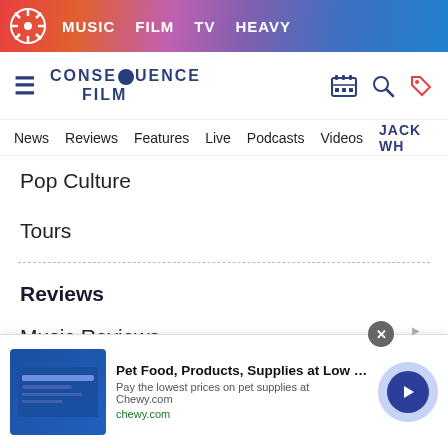MUSIC  FILM  TV  HEAVY
[Figure (logo): Consequence Film site logo with hamburger menu, search, and shop icons]
News  Reviews  Features  Live  Podcasts  Videos  JACK WH...
Pop Culture
Tours
Reviews
Music Reviews
Film Reviews
TV Reviews
Concert Reviews
[Figure (screenshot): Advertisement banner: Pet Food, Products, Supplies at Low Prices - chewy.com with arrow button]